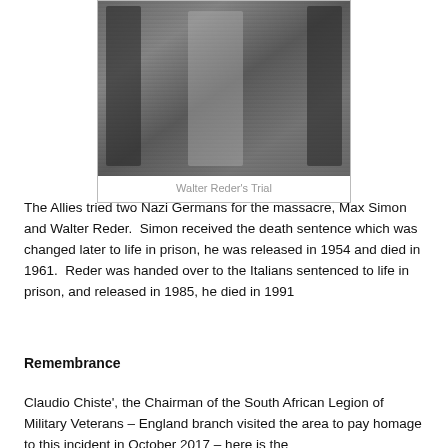[Figure (photo): Black and white photograph of Walter Reder being escorted by uniformed military/police officers during his trial]
Walter Reder's Trial
The Allies tried two Nazi Germans for the massacre, Max Simon and Walter Reder.  Simon received the death sentence which was changed later to life in prison, he was released in 1954 and died in 1961.  Reder was handed over to the Italians sentenced to life in prison, and released in 1985, he died in 1991
Remembrance
Claudio Chiste', the Chairman of the South African Legion of Military Veterans – England branch visited the area to pay homage to this incident in October 2017 – here is the